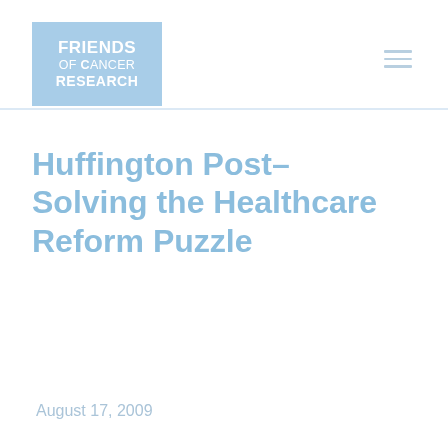Friends of Cancer Research
Huffington Post– Solving the Healthcare Reform Puzzle
August 17, 2009